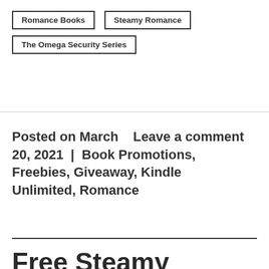Romance Books
Steamy Romance
The Omega Security Series
Posted on March 20, 2021 | Leave a comment Book Promotions, Freebies, Giveaway, Kindle Unlimited, Romance
Free Steamy